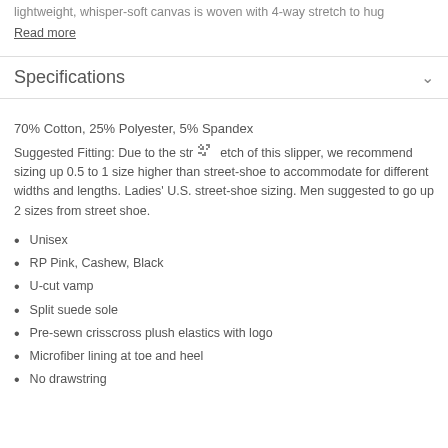lightweight, whisper-soft canvas is woven with 4-way stretch to hug
Read more
Specifications
70% Cotton, 25% Polyester, 5% Spandex
Suggested Fitting: Due to the stretch of this slipper, we recommend sizing up 0.5 to 1 size higher than street-shoe to accommodate for different widths and lengths. Ladies' U.S. street-shoe sizing. Men suggested to go up 2 sizes from street shoe.
Unisex
RP Pink, Cashew, Black
U-cut vamp
Split suede sole
Pre-sewn crisscross plush elastics with logo
Microfiber lining at toe and heel
No drawstring